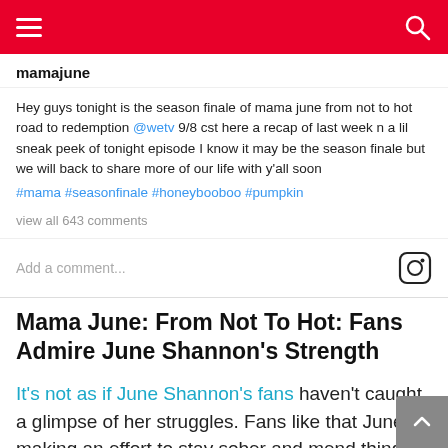mamajune
Hey guys tonight is the season finale of mama june from not to hot road to redemption @wetv 9/8 cst here a recap of last week n a lil sneak peek of tonight episode I know it may be the season finale but we will back to share more of our life with y'all soon #mama #seasonfinale #honeybooboo #pumpkin
view all 643 comments
Add a comment...
Mama June: From Not To Hot: Fans Admire June Shannon’s Strength
It’s not as if June Shannon’s fans haven’t caught a glimpse of her struggles. Fans like that June is making an effort to stay sober and mend things with her family. With the exception of a few, Mama June